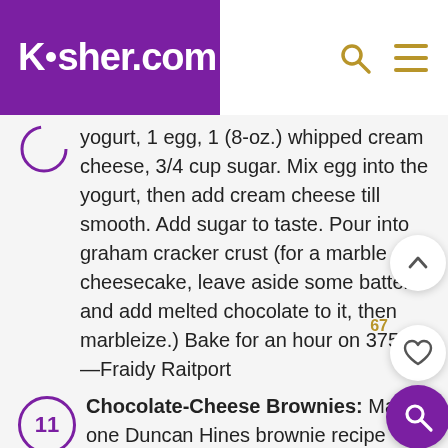Kosher.com
yogurt, 1 egg, 1 (8-oz.) whipped cream cheese, 3/4 cup sugar. Mix egg into the yogurt, then add cream cheese till smooth. Add sugar to taste. Pour into graham cracker crust (for a marble cheesecake, leave aside some batter and add melted chocolate to it, then marbleize.) Bake for an hour on 375. —Fraidy Raitport
11. Chocolate-Cheese Brownies: Make one Duncan Hines brownie recipe according to fudge instructions. Divide between muffin tins, filling each halfway. Then mix: 1 (8-oz.) package cream cheese, 1 egg, 1/2 cup sugar, 1/4 teaspoon salt, and 1 cup mini chocolate chips. Put a small scoop over brownie batter. Bake approximately